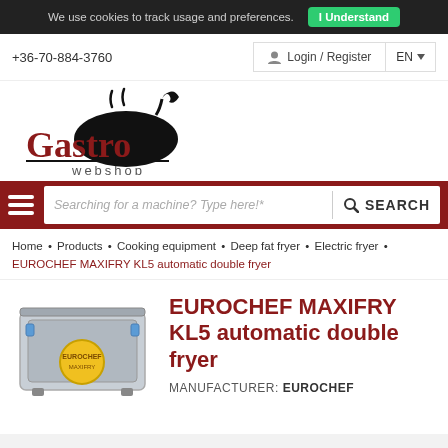We use cookies to track usage and preferences. I Understand
+36-70-884-3760
Login / Register  EN
[Figure (logo): Gastro webshop logo with chef illustration]
Searching for a machine? Type here!*  SEARCH
Home • Products • Cooking equipment • Deep fat fryer • Electric fryer • EUROCHEF MAXIFRY KL5 automatic double fryer
[Figure (photo): EUROCHEF MAXIFRY KL5 automatic double fryer product image]
EUROCHEF MAXIFRY KL5 automatic double fryer
MANUFACTURER: EUROCHEF